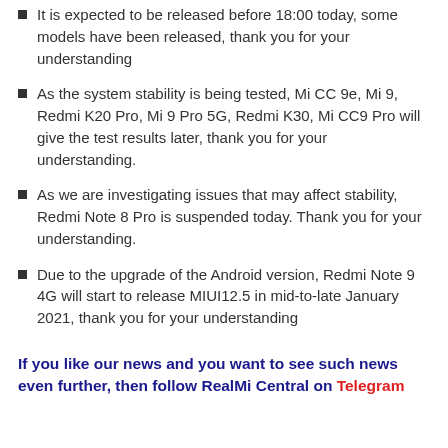It is expected to be released before 18:00 today, some models have been released, thank you for your understanding
As the system stability is being tested, Mi CC 9e, Mi 9, Redmi K20 Pro, Mi 9 Pro 5G, Redmi K30, Mi CC9 Pro will give the test results later, thank you for your understanding.
As we are investigating issues that may affect stability, Redmi Note 8 Pro is suspended today. Thank you for your understanding.
Due to the upgrade of the Android version, Redmi Note 9 4G will start to release MIUI12.5 in mid-to-late January 2021, thank you for your understanding
If you like our news and you want to see such news even further, then follow RealMi Central on Telegram